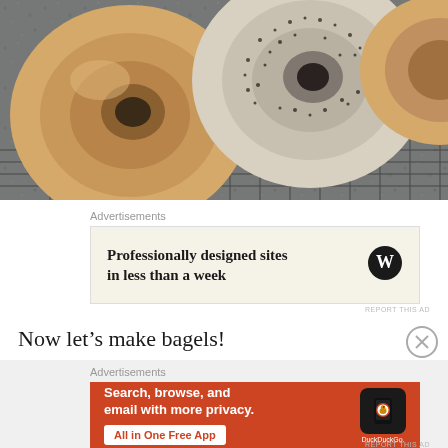[Figure (photo): Overhead view of bagels (plain and poppy seed) cooling on a wire rack on a granite countertop]
Advertisements
[Figure (infographic): WordPress advertisement: 'Professionally designed sites in less than a week' with WordPress logo on a cream background]
REPORT THIS AD
Now let’s make bagels!
Advertisements
[Figure (infographic): DuckDuckGo advertisement on orange background: 'Search, browse, and email with more privacy. All in One Free App' with phone showing DuckDuckGo app]
REPORT THIS AD